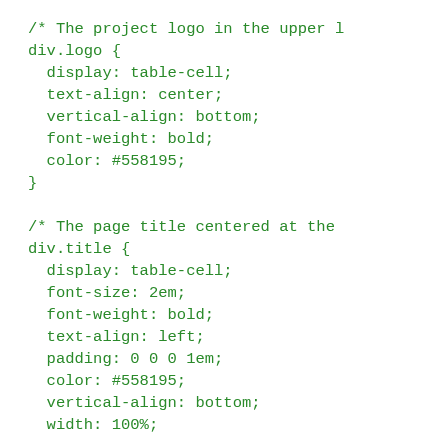/* The project logo in the upper ...
div.logo {
  display: table-cell;
  text-align: center;
  vertical-align: bottom;
  font-weight: bold;
  color: #558195;
}

/* The page title centered at the ...
div.title {
  display: table-cell;
  font-size: 2em;
  font-weight: bold;
  text-align: left;
  padding: 0 0 0 1em;
  color: #558195;
  vertical-align: bottom;
  width: 100%;